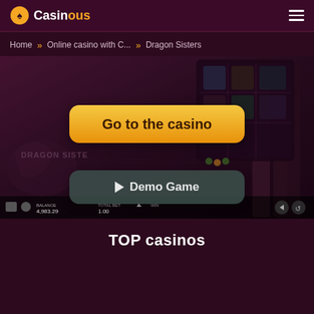Casinous — navigation header with logo and hamburger menu
Home » Online casino with C... » Dragon Sisters
[Figure (screenshot): Dragon Sisters slot game screenshot with two overlay buttons: 'Go to the casino' (yellow) and 'Demo Game' (dark teal), with game UI showing BALANCE 4,983.29, TOTAL BET 1.00, WIN]
TOP casinos